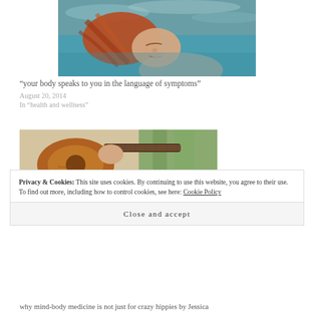[Figure (photo): Underwater photo of a red-haired girl with eyes closed, teal water background]
“your body speaks to you in the language of symptoms”
August 20, 2014
In “health and wellness”
[Figure (photo): Person playing acoustic guitar outdoors, warm earthy tones, trees in background]
Privacy & Cookies: This site uses cookies. By continuing to use this website, you agree to their use.
To find out more, including how to control cookies, see here: Cookie Policy
Close and accept
why mind-body medicine is not just for crazy hippies by Jessica